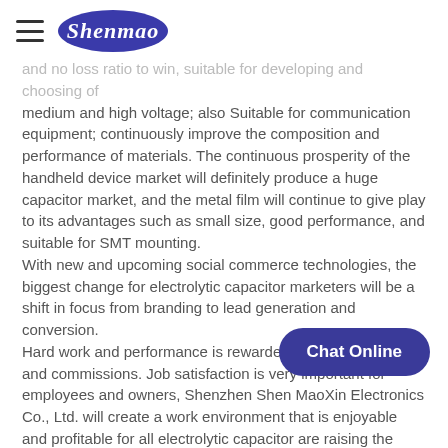Shenmao
and no loss ratio to win, suitable for developing and choosing of medium and high voltage; also Suitable for communication equipment; continuously improve the composition and performance of materials. The continuous prosperity of the handheld device market will definitely produce a huge capacitor market, and the metal film will continue to give play to its advantages such as small size, good performance, and suitable for SMT mounting.
With new and upcoming social commerce technologies, the biggest change for electrolytic capacitor marketers will be a shift in focus from branding to lead generation and conversion.
Hard work and performance is rewarded through bonuses and commissions. Job satisfaction is very important for employees and owners, Shenzhen Shen MaoXin Electronics Co., Ltd. will create a work environment that is enjoyable and profitable for all electrolytic capacitor are raising the stakes of so they also ease the sales process by providing ways for electrolytic